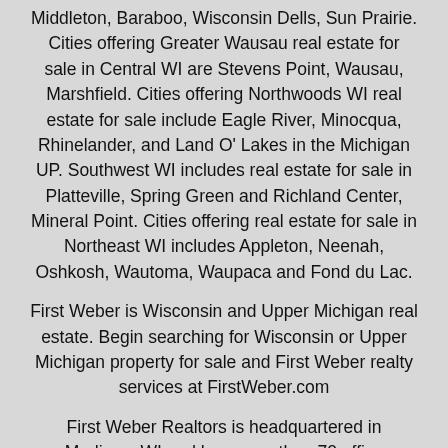Middleton, Baraboo, Wisconsin Dells, Sun Prairie. Cities offering Greater Wausau real estate for sale in Central WI are Stevens Point, Wausau, Marshfield. Cities offering Northwoods WI real estate for sale include Eagle River, Minocqua, Rhinelander, and Land O' Lakes in the Michigan UP. Southwest WI includes real estate for sale in Platteville, Spring Green and Richland Center, Mineral Point. Cities offering real estate for sale in Northeast WI includes Appleton, Neenah, Oshkosh, Wautoma, Waupaca and Fond du Lac.
First Weber is Wisconsin and Upper Michigan real estate. Begin searching for Wisconsin or Upper Michigan property for sale and First Weber realty services at FirstWeber.com
First Weber Realtors is headquartered in Madison, WI and has more than 70 office locations and nearly 1,400 real estate professionals serving Wisconsin and Upper Michigan, and with services available in Minnesota.
Copyright 2022 MetroMLS - All Rights Reserved -